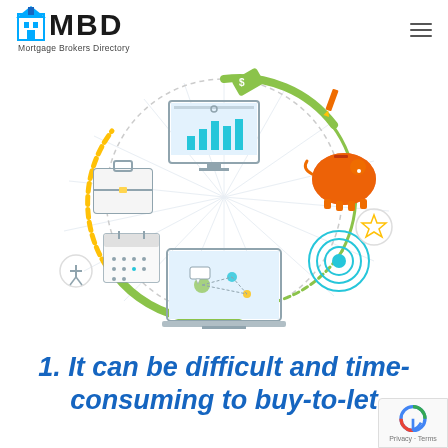MBD Mortgage Brokers Directory
[Figure (infographic): Circular infographic showing business/finance icons connected in a cycle: briefcase, calendar, monitor with bar chart, piggy bank, target/bullseye, laptop with network diagram, and geometric shapes arranged around a dashed circle with green and yellow arcs.]
1. It can be difficult and time-consuming to buy-to-let